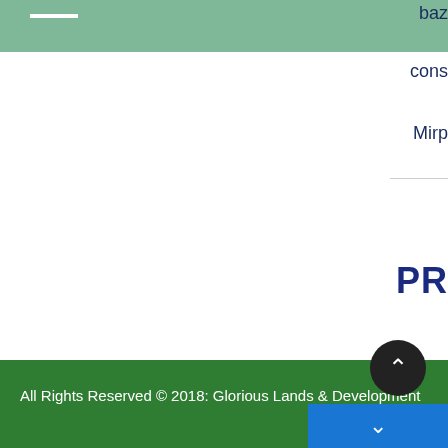—
baz
cons
Mirp
PR
The
enti
the
proj
All Rights Reserved © 2018: Glorious Lands & Development